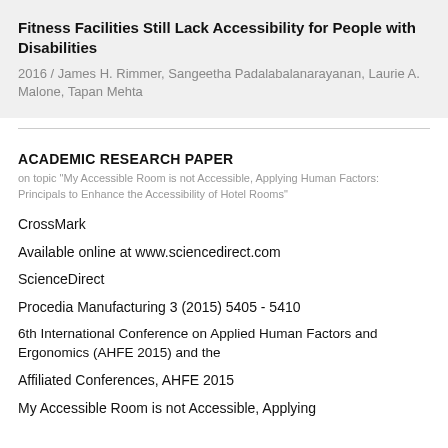Fitness Facilities Still Lack Accessibility for People with Disabilities
2016 / James H. Rimmer, Sangeetha Padalabalanarayanan, Laurie A. Malone, Tapan Mehta
ACADEMIC RESEARCH PAPER
on topic "My Accessible Room is not Accessible, Applying Human Factors: Principals to Enhance the Accessibility of Hotel Rooms"
CrossMark
Available online at www.sciencedirect.com
ScienceDirect
Procedia Manufacturing 3 (2015) 5405 - 5410
6th International Conference on Applied Human Factors and Ergonomics (AHFE 2015) and the
Affiliated Conferences, AHFE 2015
My Accessible Room is not Accessible, Applying